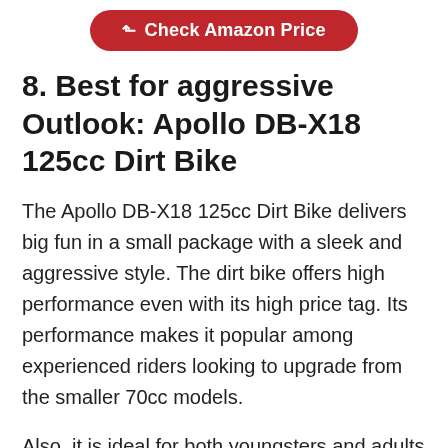[Figure (other): Red rounded button with external link icon and text 'Check Amazon Price']
8. Best for aggressive Outlook: Apollo DB-X18 125cc Dirt Bike
The Apollo DB-X18 125cc Dirt Bike delivers big fun in a small package with a sleek and aggressive style. The dirt bike offers high performance even with its high price tag. Its performance makes it popular among experienced riders looking to upgrade from the smaller 70cc models.
Also, it is ideal for both youngsters and adults with a love of adventure. The DB-X18 comes with puncture-resistant tires, front and rear